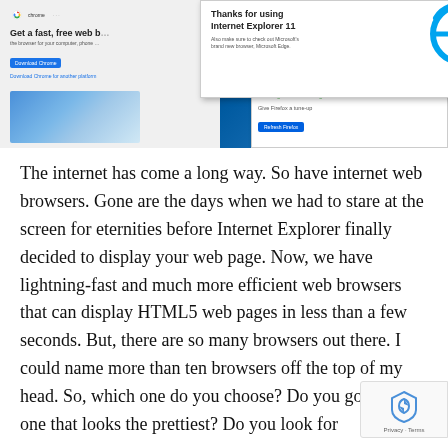[Figure (screenshot): Composite screenshot showing Chrome browser download page, Internet Explorer 11 tooltip popup, Windows 10 desktop, and Firefox browser update panel]
The internet has come a long way. So have internet web browsers. Gone are the days when we had to stare at the screen for eternities before Internet Explorer finally decided to display your web page. Now, we have lightning-fast and much more efficient web browsers that can display HTML5 web pages in less than a few seconds. But, there are so many browsers out there. I could name more than ten browsers off the top of my head. So, which one do you choose? Do you go for the one that looks the prettiest? Do you look for